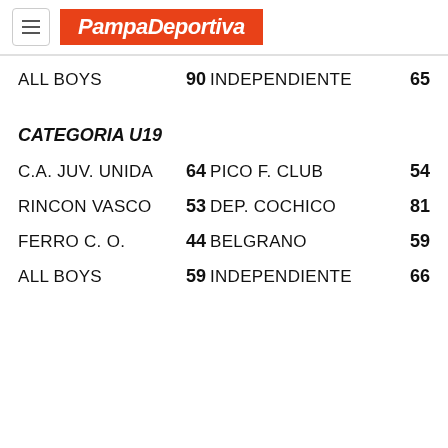PampaDeportiva
ALL BOYS 90 INDEPENDIENTE 65
CATEGORIA U19
C.A. JUV. UNIDA 64 PICO F. CLUB 54
RINCON VASCO 53 DEP. COCHICO 81
FERRO C. O. 44 BELGRANO 59
ALL BOYS 59 INDEPENDIENTE 66